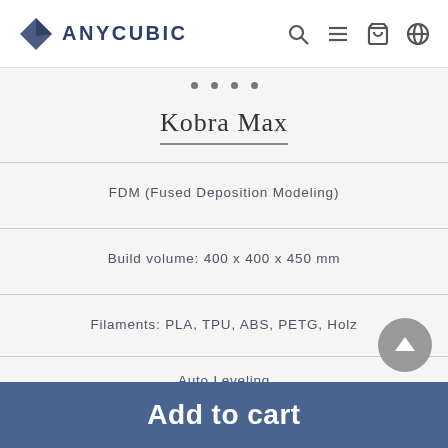ANYCUBIC
Kobra Max
FDM (Fused Deposition Modeling)
Build volume: 400 x 400 x 450 mm
Filaments: PLA, TPU, ABS, PETG, Holz
Auto Leveling
Add to cart